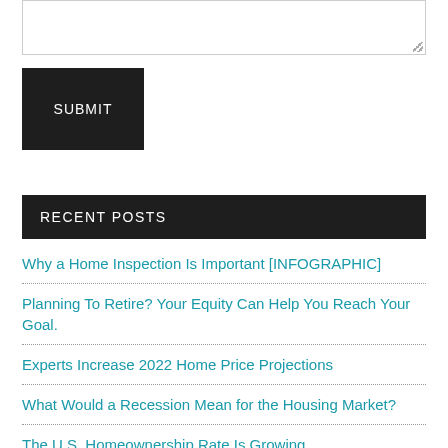[Figure (screenshot): Text area input box with resize handle]
[Figure (screenshot): Submit button, dark/black background with white text reading SUBMIT]
RECENT POSTS
Why a Home Inspection Is Important [INFOGRAPHIC]
Planning To Retire? Your Equity Can Help You Reach Your Goal.
Experts Increase 2022 Home Price Projections
What Would a Recession Mean for the Housing Market?
The U.S. Homeownership Rate Is Growing